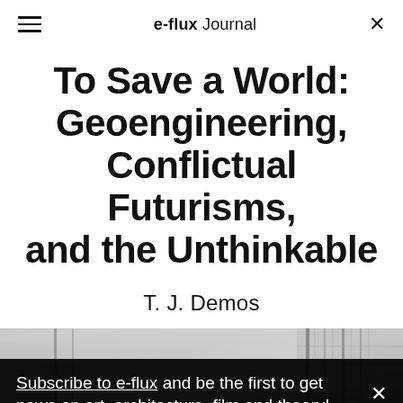e-flux Journal
To Save a World: Geoengineering, Conflictual Futurisms, and the Unthinkable
T. J. Demos
[Figure (photo): Dark atmospheric background image showing a blurred wintry or industrial scene]
Subscribe to e-flux and be the first to get news on art, architecture, film and theory!